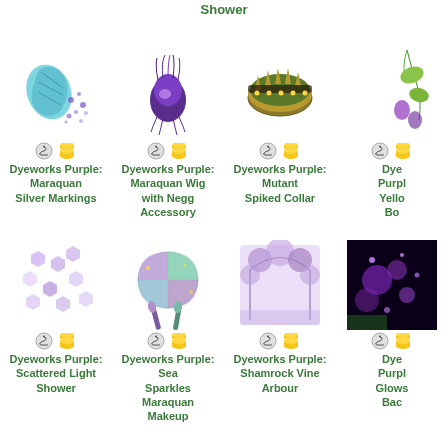Shower
[Figure (illustration): Grid of Neopets Dyeworks items with icons and labels]
Dyeworks Purple: Maraquan Silver Markings
Dyeworks Purple: Maraquan Wig with Negg Accessory
Dyeworks Purple: Mutant Spiked Collar
Dyeworks Purple: Yellow Bo
Dyeworks Purple: Scattered Light Shower
Dyeworks Purple: Sea Sparkles Maraquan Makeup
Dyeworks Purple: Shamrock Vine Arbour
Dyeworks Purple: Glows Bac